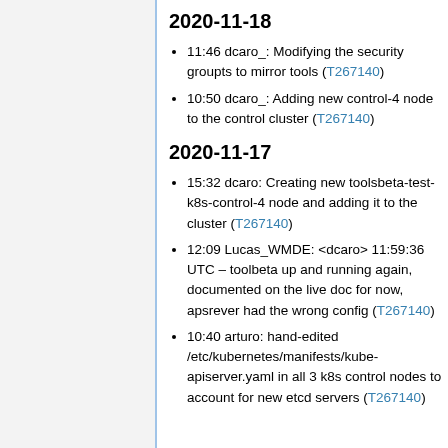2020-11-18
11:46 dcaro_: Modifying the security groupts to mirror tools (T267140)
10:50 dcaro_: Adding new control-4 node to the control cluster (T267140)
2020-11-17
15:32 dcaro: Creating new toolsbeta-test-k8s-control-4 node and adding it to the cluster (T267140)
12:09 Lucas_WMDE: <dcaro> 11:59:36 UTC – toolbeta up and running again, documented on the live doc for now, apsrever had the wrong config (T267140)
10:40 arturo: hand-edited /etc/kubernetes/manifests/kube-apiserver.yaml in all 3 k8s control nodes to account for new etcd servers (T267140)